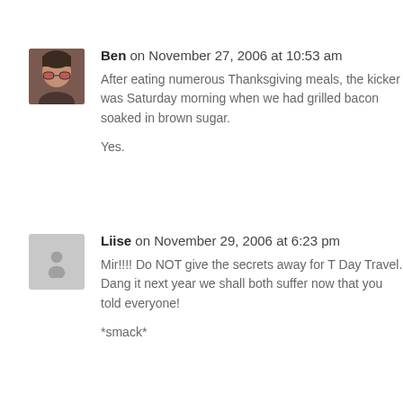[Figure (photo): Small square avatar photo of Ben wearing red-tinted glasses]
Ben on November 27, 2006 at 10:53 am
After eating numerous Thanksgiving meals, the kicker was Saturday morning when we had grilled bacon soaked in brown sugar.

Yes.
[Figure (illustration): Generic grey avatar placeholder silhouette for Liise]
Liise on November 29, 2006 at 6:23 pm
Mir!!!! Do NOT give the secrets away for T Day Travel. Dang it next year we shall both suffer now that you told everyone!

*smack*